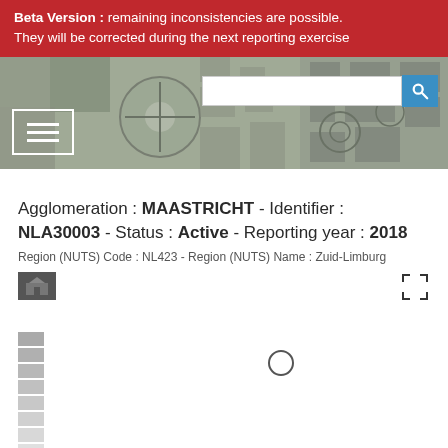Beta Version : remaining inconsistencies are possible. They will be corrected during the next reporting exercise
[Figure (screenshot): Header banner image showing aerial/map view of urban area with cobblestone patterns, with search input and hamburger menu overlay]
Agglomeration : MAASTRICHT - Identifier : NLA30003 - Status : Active - Reporting year : 2018
Region (NUTS) Code : NL423 - Region (NUTS) Name : Zuid-Limburg
[Figure (map): Partially loaded map showing legend bars on the left and a single circle marker indicating Maastricht location, with expand icon in top right]